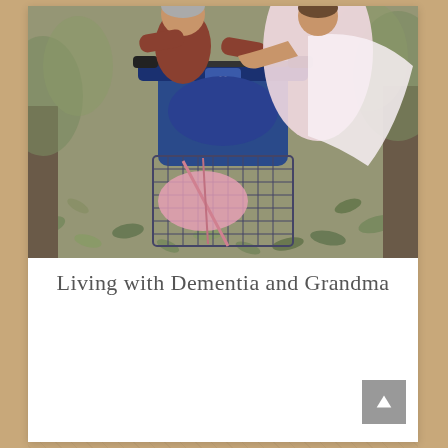[Figure (photo): Two people on a mobility scooter outdoors on a leaf-covered ground. The scooter is blue with handlebars and a front basket containing pink items. One person wears a red/brown outfit and another wears a white/pink dress. Trees and fallen leaves are visible in the background.]
Living with Dementia and Grandma